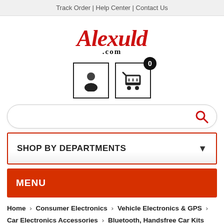Track Order | Help Center | Contact Us
[Figure (logo): Alexuld.com logo in red script font with .com in black serif]
[Figure (infographic): User/account icon in bordered box and shopping cart icon in bordered box with badge showing 0]
[Figure (infographic): Search bar with red magnifying glass icon]
SHOP BY DEPARTMENTS
MENU
Home > Consumer Electronics > Vehicle Electronics & GPS > Car Electronics Accessories > Bluetooth, Handsfree Car Kits
[Figure (photo): Partial product image visible at bottom of page]